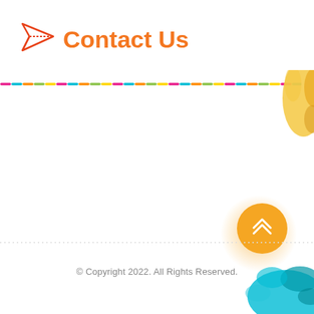Contact Us
[Figure (illustration): Colorful repeating dashed line with alternating colors: pink, cyan, orange, green, yellow, magenta]
[Figure (illustration): Yellow-orange decorative handprint/splash in the top-right corner]
[Figure (illustration): Orange circular back-to-top button with double chevron up arrow, with a soft glow effect]
[Figure (illustration): Thin dotted/wavy horizontal separator line across the page]
© Copyright 2022. All Rights Reserved.
[Figure (illustration): Teal/cyan decorative handprint/splash in the bottom-right corner]